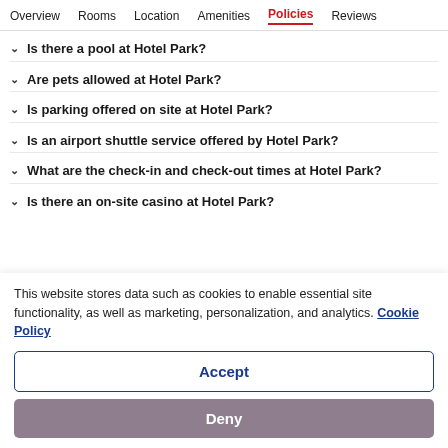Overview  Rooms  Location  Amenities  Policies  Reviews
Is there a pool at Hotel Park?
Are pets allowed at Hotel Park?
Is parking offered on site at Hotel Park?
Is an airport shuttle service offered by Hotel Park?
What are the check-in and check-out times at Hotel Park?
Is there an on-site casino at Hotel Park?
This website stores data such as cookies to enable essential site functionality, as well as marketing, personalization, and analytics. Cookie Policy
Accept
Deny